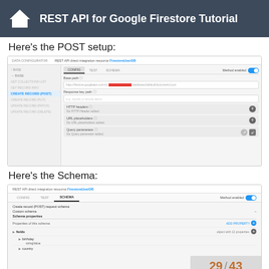REST API for Google Firestore Tutorial
Here's the POST setup:
[Figure (screenshot): Screenshot of a REST API Data Configurator UI showing the POST (Create Record) setup. Left sidebar lists API actions. Main panel shows CONFIG/TEST/SCHEMA tabs with CONFIG active, a Base path URL field (with redacted API key), a Response key path field, HTTP headers section (No HTTP Header added), URL placeholders section (No URL placeholders added), and Query parameters section (No Query parameters added). Method enabled toggle is on.]
Here's the Schema:
[Figure (screenshot): Screenshot of a REST API direct integration resource FirestoreUserDB showing the SCHEMA tab active. Displays Create record (POST) request schema with Custom schema selected. Schema properties section with Properties of this schema header and ADD PROPERTY button. Fields tree showing: fields (object with 12 properties), birthday with stringValue child, country below. Method enabled toggle is on.]